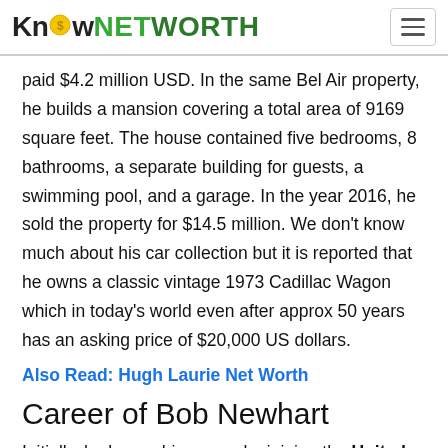KnowNETWORTH
paid $4.2 million USD. In the same Bel Air property, he builds a mansion covering a total area of 9169 square feet. The house contained five bedrooms, 8 bathrooms, a separate building for guests, a swimming pool, and a garage. In the year 2016, he sold the property for $14.5 million. We don't know much about his car collection but it is reported that he owns a classic vintage 1973 Cadillac Wagon which in today's world even after approx 50 years has an asking price of $20,000 US dollars.
Also Read: Hugh Laurie Net Worth
Career of Bob Newhart
Initially, he began his career by joining the United States